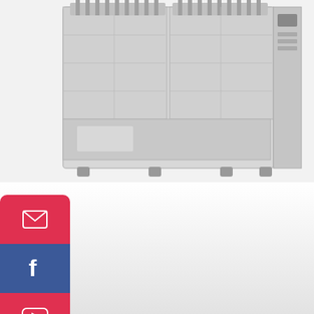[Figure (photo): Industrial machine - auto lube system dispenser unit with gray cabinet, multiple dispensing nozzles on top, and digital control panel on right side]
[Figure (infographic): Social media sidebar with email (red), Facebook (blue), YouTube (red), and Pinterest (pink) buttons]
uto Lube Systems || LUBRICATION TECHNOLOGIES || Lube ...
E CHAT
[Figure (photo): Chat avatar: young woman named Cilina in professional attire]
Hi,welcome to visit our website.